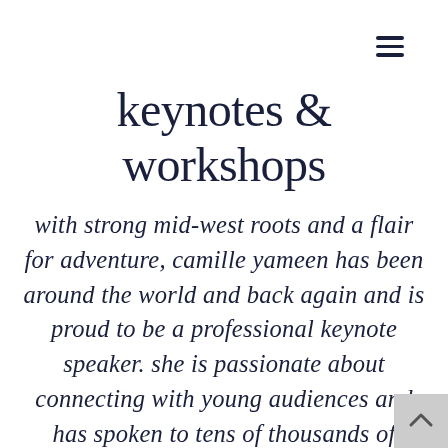≡
keynotes & workshops
with strong mid-west roots and a flair for adventure, camille yameen has been around the world and back again and is proud to be a professional keynote speaker. she is passionate about connecting with young audiences and has spoken to tens of thousands of students across the country, from california to vermont, about leadership,